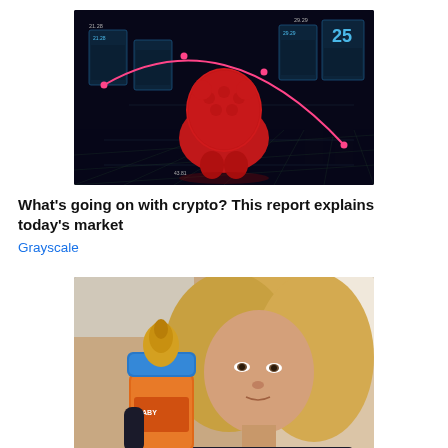[Figure (photo): Dark digital background with glowing blue stock chart panels and a red bear sculpture in the center with a pink curved trend line]
What's going on with crypto? This report explains today's market
Grayscale
[Figure (photo): Blonde woman looking at a baby bottle with blue cap and orange container]
5 Things for Every American to Do Before the Recession Hits